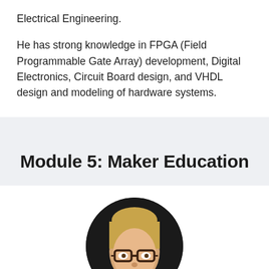Electrical Engineering.
He has strong knowledge in FPGA (Field Programmable Gate Array) development, Digital Electronics, Circuit Board design, and VHDL design and modeling of hardware systems.
Module 5: Maker Education
[Figure (photo): Circular profile photo of a blond man with glasses against a dark background, partially visible from the top of the card.]